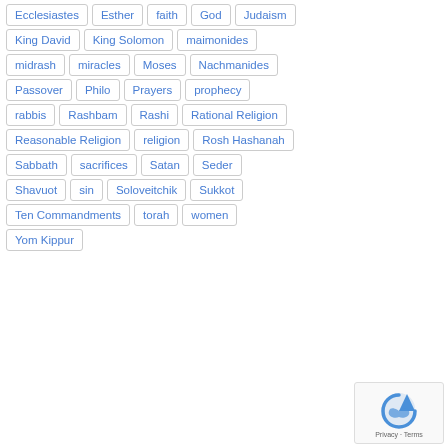Ecclesiastes
Esther
faith
God
Judaism
King David
King Solomon
maimonides
midrash
miracles
Moses
Nachmanides
Passover
Philo
Prayers
prophecy
rabbis
Rashbam
Rashi
Rational Religion
Reasonable Religion
religion
Rosh Hashanah
Sabbath
sacrifices
Satan
Seder
Shavuot
sin
Soloveitchik
Sukkot
Ten Commandments
torah
women
Yom Kippur